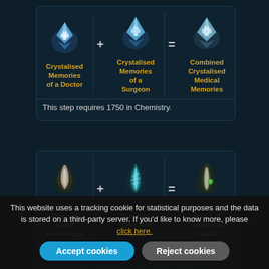[Figure (infographic): Recipe card showing Crystalised Memories of a Doctor + Crystalised Memories of a Surgeon = Combined Crystalised Medical Memories. With note: This step requires 1750 in Chemistry.]
This step requires 1750 in Chemistry.
[Figure (infographic): Recipe card showing Ancient Scrap of Spirit Knowledge + Ancient Scrap of Saturated Spirit Knowledge = Ancient Scrap of Condensed Spirit Knowledge. With note: This step requires 1250 in Pharma Tech.]
This website uses a tracking cookie for statistical purposes and the data is stored on a third-party server. If you'd like to know more, please click here.